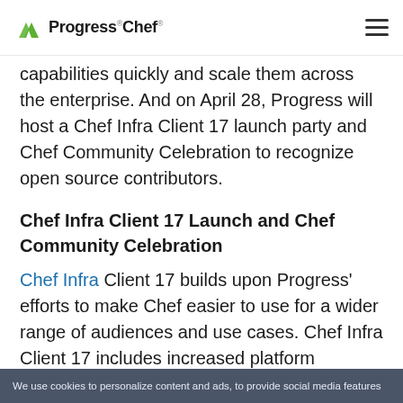Progress Chef
capabilities quickly and scale them across the enterprise. And on April 28, Progress will host a Chef Infra Client 17 launch party and Chef Community Celebration to recognize open source contributors.
Chef Infra Client 17 Launch and Chef Community Celebration
Chef Infra Client 17 builds upon Progress' efforts to make Chef easier to use for a wider range of audiences and use cases. Chef Infra Client 17 includes increased platform coverage, improved clc support and a significant number of new pre-built
We use cookies to personalize content and ads, to provide social media features